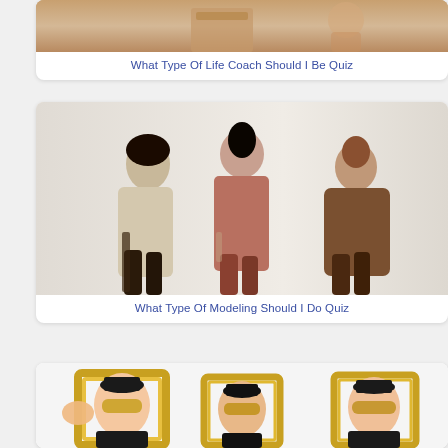[Figure (photo): Cropped photo of a person at a desk with a cardboard box, life coach related imagery]
What Type Of Life Coach Should I Be Quiz
[Figure (photo): Three women in elegant fashion outfits (beige, rust/terracotta, brown) posing against a neutral background]
What Type Of Modeling Should I Do Quiz
[Figure (photo): Three men in tuxedos with masquerade masks and golden picture frames, clowning around]